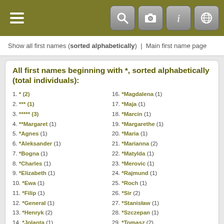Navigation bar with menu and icons
Show all first names (sorted alphabetically) | Main first name page
All first names beginning with *, sorted alphabetically (total individuals):
1. * (2)
2. *** (1)
3. ***** (3)
4. **Margaret (1)
5. *Agnes (1)
6. *Aleksander (1)
7. *Bogna (1)
8. *Charles (1)
9. *Elizabeth (1)
10. *Ewa (1)
11. *Filip (1)
12. *General (1)
13. *Henryk (2)
14. *Jolanta (1)
15. *Kazimiera (1)
16. *Magdalena (1)
17. *Maja (1)
18. *Marcin (1)
19. *Margarethe (1)
20. *Maria (1)
21. *Marianna (2)
22. *Matylda (1)
23. *Merovic (1)
24. *Rajmund (1)
25. *Roch (1)
26. *Sir (2)
27. *Stanisław (1)
28. *Szczepan (1)
29. *Tomasz (2)
30. *Wiesław (1)